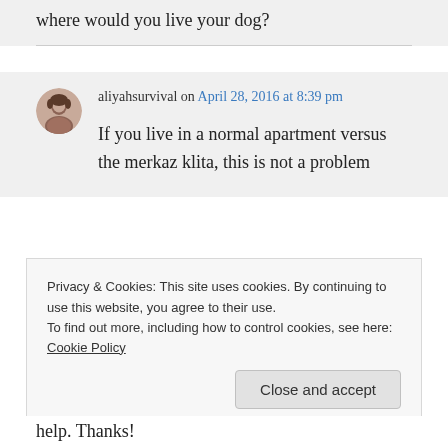where would you live your dog?
aliyahsurvival on April 28, 2016 at 8:39 pm
If you live in a normal apartment versus the merkaz klita, this is not a problem
Privacy & Cookies: This site uses cookies. By continuing to use this website, you agree to their use.
To find out more, including how to control cookies, see here: Cookie Policy
Close and accept
help. Thanks!